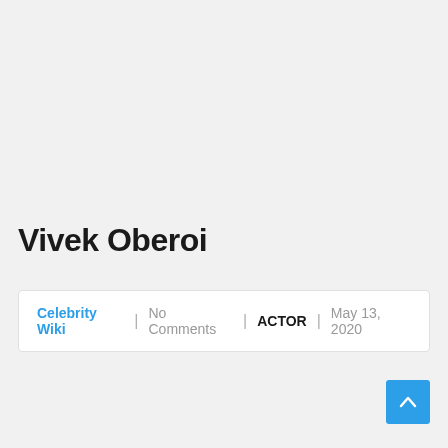Vivek Oberoi
Celebrity Wiki | No Comments | ACTOR | May 13, 2020
[Figure (other): Back to top button — a blue square with an upward chevron arrow icon]